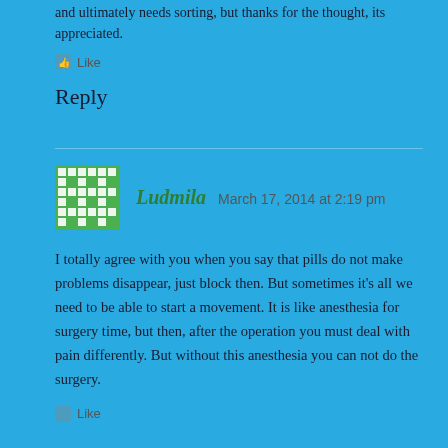and ultimately needs sorting, but thanks for the thought, its appreciated.
Like
Reply
Ludmila   March 17, 2014 at 2:19 pm
I totally agree with you when you say that pills do not make problems disappear, just block then. But sometimes it's all we need to be able to start a movement. It is like anesthesia for surgery time, but then, after the operation you must deal with pain differently. But without this anesthesia you can not do the surgery.
Like